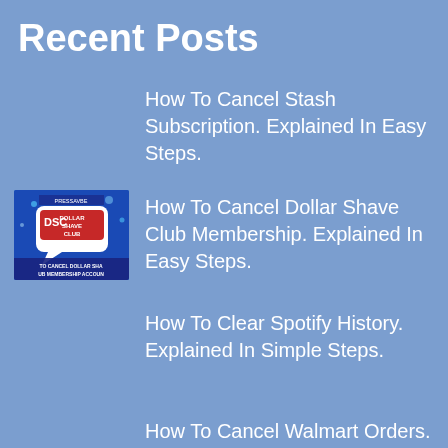Recent Posts
How To Cancel Stash Subscription. Explained In Easy Steps.
[Figure (photo): Thumbnail image for Dollar Shave Club cancellation article — blue background with Dollar Shave Club logo and text 'TO CANCEL DOLLAR SHAVE CLUB MEMBERSHIP ACCOUNT']
How To Cancel Dollar Shave Club Membership. Explained In Easy Steps.
How To Clear Spotify History. Explained In Simple Steps.
How To Cancel Walmart Orders.